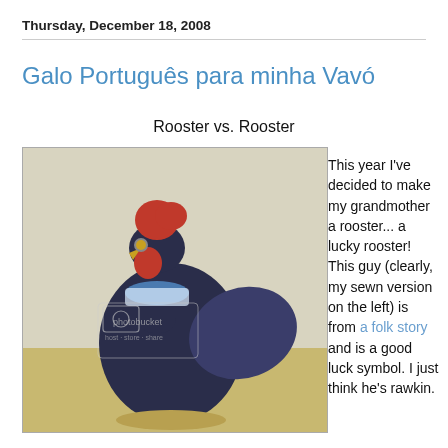Thursday, December 18, 2008
Galo Português para minha Vavó
Rooster vs. Rooster
[Figure (photo): A handmade fabric rooster with a dark navy body, red comb and wattle, yellow button eyes, and a colorful floral scarf around its neck. A Photobucket watermark is visible on the image.]
This year I've decided to make my grandmother a rooster... a lucky rooster! This guy (clearly, my sewn version on the left) is from a folk story and is a good luck symbol. I just think he's rawkin.